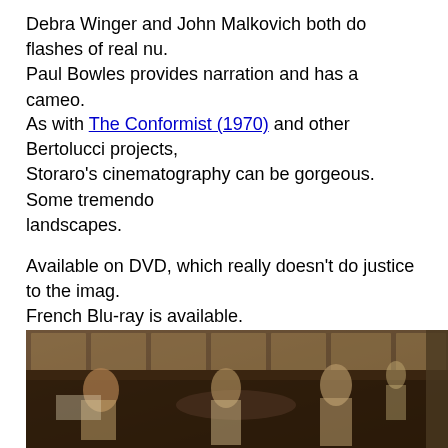Debra Winger and John Malkovich both do flashes of real nu. Paul Bowles provides narration and has a cameo.
As with The Conformist (1970) and other Bertolucci projects, Storaro's cinematography can be gorgeous. Some tremendo landscapes.
Available on DVD, which really doesn't do justice to the imag. French Blu-ray is available.
[Figure (photo): A sepia-toned film still showing several people seated around tables in what appears to be a colonial-era café or restaurant interior. The figures are dressed in light-colored period clothing. The room has wooden paneling and windows in the background.]